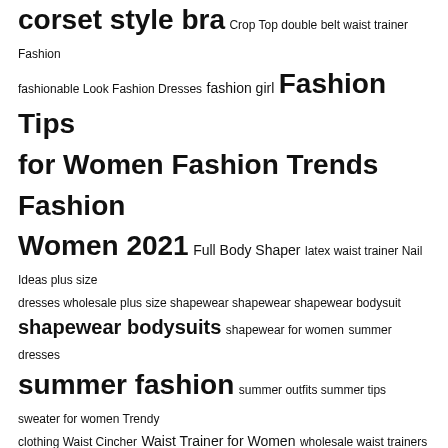corset style bra Crop Top double belt waist trainer Fashion fashionable Look Fashion Dresses fashion girl Fashion Tips for Women Fashion Trends Fashion Women 2021 Full Body Shaper latex waist trainer Nail Ideas plus size dresses wholesale plus size shapewear shapewear shapewear bodysuit shapewear bodysuits shapewear for women summer dresses summer fashion summer outfits summer tips sweater for women Trendy clothing Waist Cincher Waist Trainer for Women wholesale waist trainers Womens Sexy Dresses
Categories
Accessories
Activewear